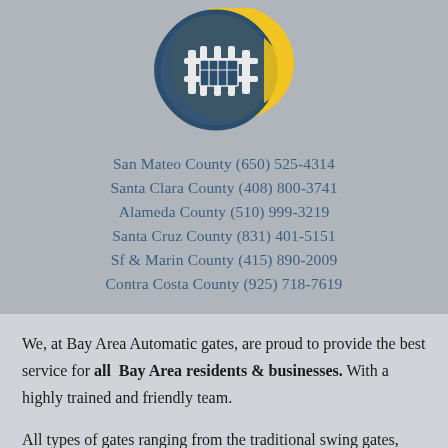[Figure (logo): Bay Area Automatic Gates logo: circular emblem with dark navy blue fence/gate icons and a yellow sun-like shape on grey background]
San Mateo County (650) 525-4314
Santa Clara County (408) 800-3741
Alameda County (510) 999-3219
Santa Cruz County (831) 401-5151
Sf & Marin County (415) 890-2009
Contra Costa County (925) 718-7619
We, at Bay Area Automatic gates, are proud to provide the best service for all Bay Area residents & businesses. With a highly trained and friendly team.

All types of gates ranging from the traditional swing gates, sliding gates, lifting gates, etc.. with radio receivers